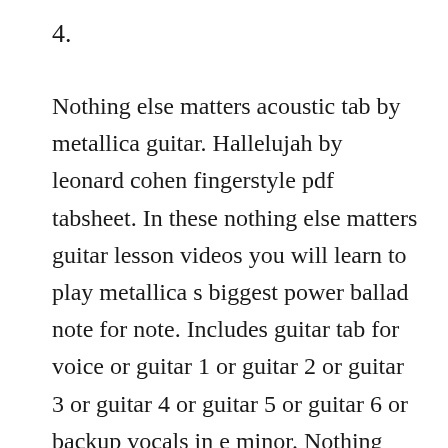4.
Nothing else matters acoustic tab by metallica guitar. Hallelujah by leonard cohen fingerstyle pdf tabsheet. In these nothing else matters guitar lesson videos you will learn to play metallica s biggest power ballad note for note. Includes guitar tab for voice or guitar 1 or guitar 2 or guitar 3 or guitar 4 or guitar 5 or guitar 6 or backup vocals in e minor. Nothing else matters acoustic guitar tab by metallica with free online tab player. Metallica nothing else matters solo this didnt work out the way i